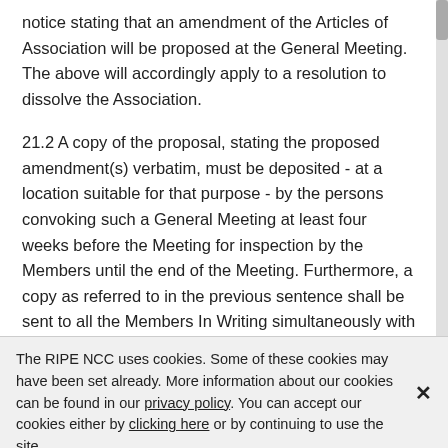notice stating that an amendment of the Articles of Association will be proposed at the General Meeting. The above will accordingly apply to a resolution to dissolve the Association.
21.2 A copy of the proposal, stating the proposed amendment(s) verbatim, must be deposited - at a location suitable for that purpose - by the persons convoking such a General Meeting at least four weeks before the Meeting for inspection by the Members until the end of the Meeting. Furthermore, a copy as referred to in the previous sentence shall be sent to all the Members In Writing simultaneously with the notice as referred to in paragraph 21.1.
21.3 A resolution to amend the Articles of
The RIPE NCC uses cookies. Some of these cookies may have been set already. More information about our cookies can be found in our privacy policy. You can accept our cookies either by clicking here or by continuing to use the site.